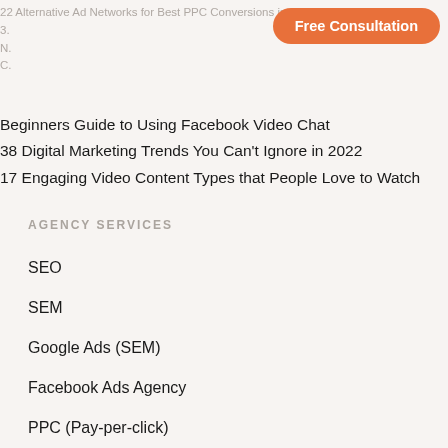22 Alternative Ad Networks for Best PPC Conversions in 2022
3.
N.
C.
[Figure (other): Orange rounded rectangle button labeled 'Free Consultation']
Beginners Guide to Using Facebook Video Chat
38 Digital Marketing Trends You Can't Ignore in 2022
17 Engaging Video Content Types that People Love to Watch
AGENCY SERVICES
SEO
SEM
Google Ads (SEM)
Facebook Ads Agency
PPC (Pay-per-click)